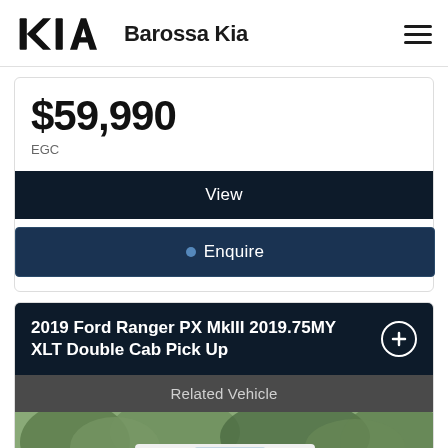Kia — Barossa Kia
$59,990
EGC
View
Enquire
2019 Ford Ranger PX MkIII 2019.75MY XLT Double Cab Pick Up
Related Vehicle
[Figure (photo): White Ford Ranger pickup truck parked outdoors in a bush/tree setting, front three-quarter view]